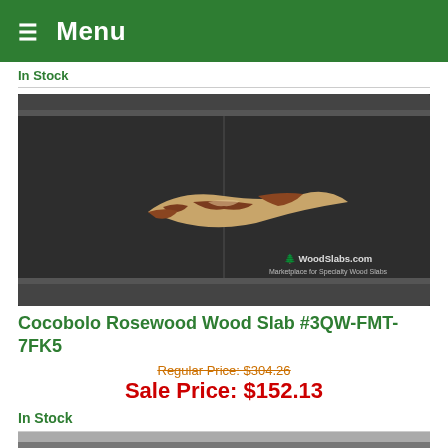☰ Menu
In Stock
[Figure (photo): Photo of a Cocobolo Rosewood wood slab on a dark background with WoodSlabs.com watermark]
Cocobolo Rosewood Wood Slab #3QW-FMT-7FK5
Regular Price: $304.26
Sale Price: $152.13
In Stock
[Figure (photo): Partial view of another wood slab product image at the bottom of the page]